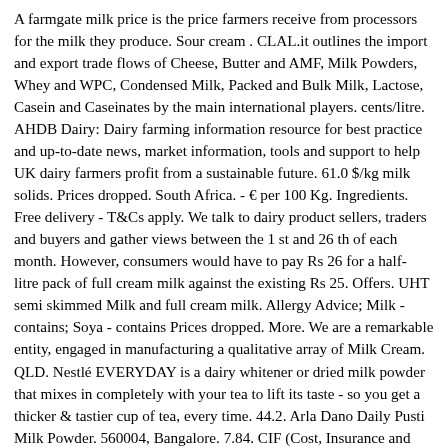A farmgate milk price is the price farmers receive from processors for the milk they produce. Sour cream . CLAL.it outlines the import and export trade flows of Cheese, Butter and AMF, Milk Powders, Whey and WPC, Condensed Milk, Packed and Bulk Milk, Lactose, Casein and Caseinates by the main international players. cents/litre. AHDB Dairy: Dairy farming information resource for best practice and up-to-date news, market information, tools and support to help UK dairy farmers profit from a sustainable future. 61.0 $/kg milk solids. Prices dropped. South Africa. - € per 100 Kg. Ingredients. Free delivery - T&Cs apply. We talk to dairy product sellers, traders and buyers and gather views between the 1 st and 26 th of each month. However, consumers would have to pay Rs 26 for a half- litre pack of full cream milk against the existing Rs 25. Offers. UHT semi skimmed Milk and full cream milk. Allergy Advice; Milk - contains; Soya - contains Prices dropped. More. We are a remarkable entity, engaged in manufacturing a qualitative array of Milk Cream. QLD. Nestlé EVERYDAY is a dairy whitener or dried milk powder that mixes in completely with your tea to lift its taste - so you get a thicker & tastier cup of tea, every time. 44.2. Arla Dano Daily Pusti Milk Powder. 560004, Bangalore. 7.84. CIF (Cost, Insurance and Freight) Milk. As such the overall weighted average would have come out lower. Next release: 16 December 2020 Series ID: CZNW What's this? Price of half litre full cream milk has been hiked to Rs 28 from Rs 27. "Italian Milk Cream (40% fat)" and